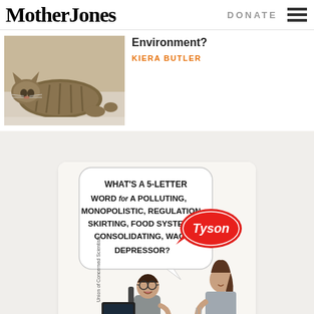Mother Jones | DONATE
[Figure (photo): A tabby cat lying on its side on a light-colored carpet, looking at the camera]
Environment?
KIERA BUTLER
[Figure (illustration): Cartoon advertisement for Union of Concerned Scientists showing two people doing a crossword puzzle with text: WHAT'S A 5-LETTER WORD for A POLLUTING, MONOPOLISTIC, REGULATION-SKIRTING, FOOD SYSTEM CONSOLIDATING, WAGE DEPRESSOR? with a Tyson logo speech bubble answer.]